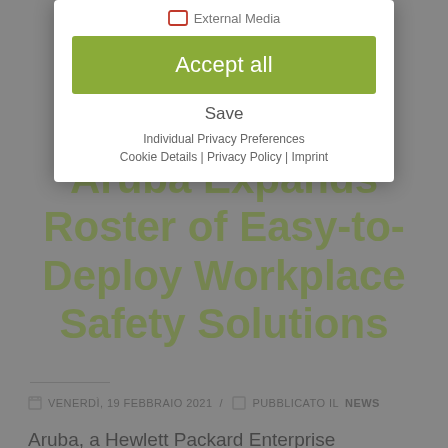Aruba Expands Roster of Easy-to-Deploy Workplace Safety Solutions
VENERDÌ, 19 FEBBRAIO 2021 / PUBBLICATO IL NEWS
Aruba, a Hewlett Packard Enterprise company, today announced an expanded set of integrated, easy-to-deploy Edge and IoT solutions designed to enable organizations to bring employees back to physical workplaces safely. Developed using Aruba Wi-Fi access points (AP's), EnOcean 800/900MHz radios that insert
[Figure (screenshot): Cookie consent modal dialog overlaying the page. Contains an 'Accept all' green button, 'Save' text link, 'Individual Privacy Preferences' link, and 'Cookie Details | Privacy Policy | Imprint' links at the bottom.]